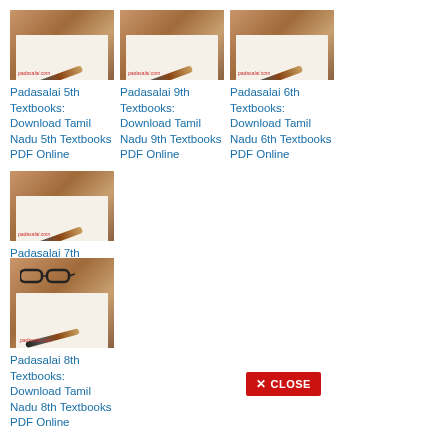[Figure (photo): Textbook cover thumbnail with pen and paper - Padasalai 5th]
Padasalai 5th Textbooks: Download Tamil Nadu 5th Textbooks PDF Online
[Figure (photo): Textbook cover thumbnail with pen and paper - Padasalai 9th]
Padasalai 9th Textbooks: Download Tamil Nadu 9th Textbooks PDF Online
[Figure (photo): Textbook cover thumbnail with pen and paper - Padasalai 6th]
Padasalai 6th Textbooks: Download Tamil Nadu 6th Textbooks PDF Online
[Figure (photo): Textbook cover thumbnail with pen and paper - Padasalai 7th]
Padasalai 7th Textbooks: Download Tamil Nadu 7th Textbooks PDF Online
[Figure (photo): Textbook cover thumbnail with glasses and pen - Padasalai 8th]
Padasalai 8th Textbooks: Download Tamil Nadu 8th Textbooks PDF Online